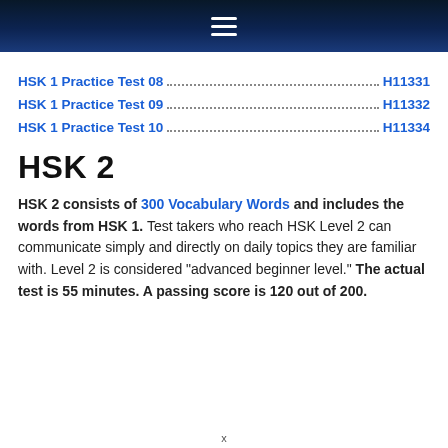Navigation menu header bar
HSK 1 Practice Test 08 .... H11331
HSK 1 Practice Test 09 .... H11332
HSK 1 Practice Test 10 .... H11334
HSK 2
HSK 2 consists of 300 Vocabulary Words and includes the words from HSK 1. Test takers who reach HSK Level 2 can communicate simply and directly on daily topics they are familiar with. Level 2 is considered "advanced beginner level." The actual test is 55 minutes. A passing score is 120 out of 200.